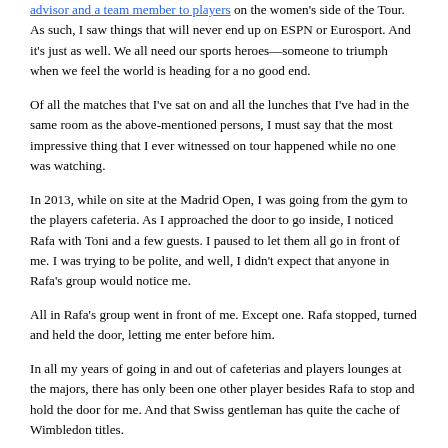advisor and a team member to players on the women's side of the Tour. As such, I saw things that will never end up on ESPN or Eurosport. And it's just as well. We all need our sports heroes—someone to triumph when we feel the world is heading for a no good end.
Of all the matches that I've sat on and all the lunches that I've had in the same room as the above-mentioned persons, I must say that the most impressive thing that I ever witnessed on tour happened while no one was watching.
In 2013, while on site at the Madrid Open, I was going from the gym to the players cafeteria. As I approached the door to go inside, I noticed Rafa with Toni and a few guests. I paused to let them all go in front of me. I was trying to be polite, and well, I didn't expect that anyone in Rafa's group would notice me.
All in Rafa's group went in front of me. Except one. Rafa stopped, turned and held the door, letting me enter before him.
In all my years of going in and out of cafeterias and players lounges at the majors, there has only been one other player besides Rafa to stop and hold the door for me. And that Swiss gentleman has quite the cache of Wimbledon titles.
Humility. It's the stuff of real heroes.